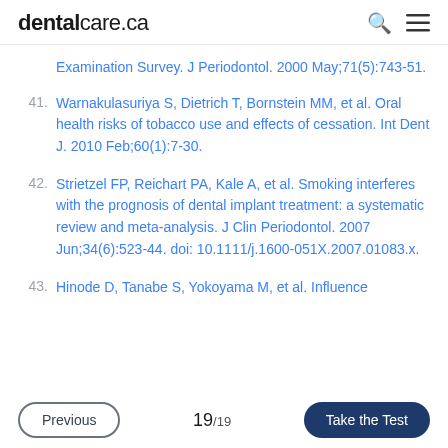dentalcare.ca
Examination Survey. J Periodontol. 2000 May;71(5):743-51.
41. Warnakulasuriya S, Dietrich T, Bornstein MM, et al. Oral health risks of tobacco use and effects of cessation. Int Dent J. 2010 Feb;60(1):7-30.
42. Strietzel FP, Reichart PA, Kale A, et al. Smoking interferes with the prognosis of dental implant treatment: a systematic review and meta-analysis. J Clin Periodontol. 2007 Jun;34(6):523-44. doi: 10.1111/j.1600-051X.2007.01083.x.
43. Hinode D, Tanabe S, Yokoyama M, et al. Influence of smoking on osseointegration and implant failure...
Previous  19/19  Take the Test